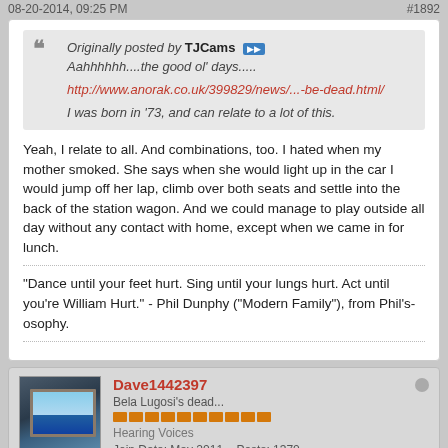08-20-2014, 09:25 PM    #1892
Originally posted by TJCams
Aahhhhhh....the good ol' days.....

http://www.anorak.co.uk/399829/news/...-be-dead.html/

I was born in '73, and can relate to a lot of this.
Yeah, I relate to all. And combinations, too. I hated when my mother smoked. She says when she would light up in the car I would jump off her lap, climb over both seats and settle into the back of the station wagon. And we could manage to play outside all day without any contact with home, except when we came in for lunch.
"Dance until your feet hurt. Sing until your lungs hurt. Act until you're William Hurt." - Phil Dunphy ("Modern Family"), from Phil's-osophy.
Dave1442397
Bela Lugosi's dead...
Hearing Voices
Join Date: May 2011    Posts: 1370